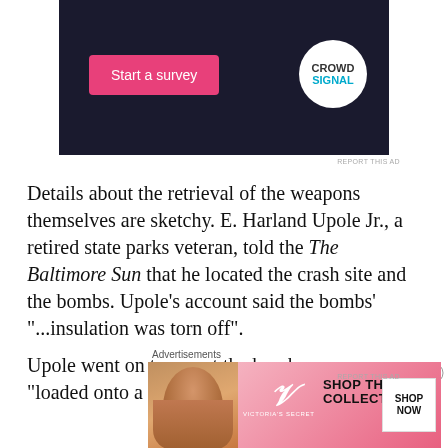[Figure (other): Advertisement banner with dark navy background. Pink 'Start a survey' button on left, Crowdsignal circular logo on right.]
Details about the retrieval of the weapons themselves are sketchy. E. Harland Upole Jr., a retired state parks veteran, told the The Baltimore Sun that he located the crash site and the bombs. Upole's account said the bombs' "...insulation was torn off".
Upole went on to report the bombs were "loaded onto a flatbed truck" and driven through the city
[Figure (other): Victoria's Secret advertisement banner. Pink background with model photo, VS logo, 'SHOP THE COLLECTION' text, and 'SHOP NOW' button.]